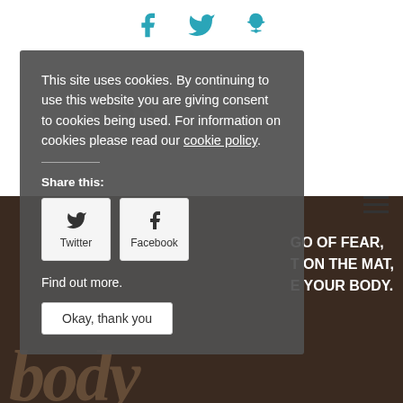[Figure (screenshot): Social media icons (Facebook, Twitter, Snapchat) in teal color at top of page]
[Figure (screenshot): Background watermark text 'happiness' and book imagery with dark bottom section showing text 'GO OF FEAR, T ON THE MAT, E YOUR BODY.' overlaid with a cookie consent banner]
This site uses cookies. By continuing to use this website you are giving consent to cookies being used. For information on cookies please read our cookie policy.
Share this:
Twitter
Facebook
Find out more.
Okay, thank you